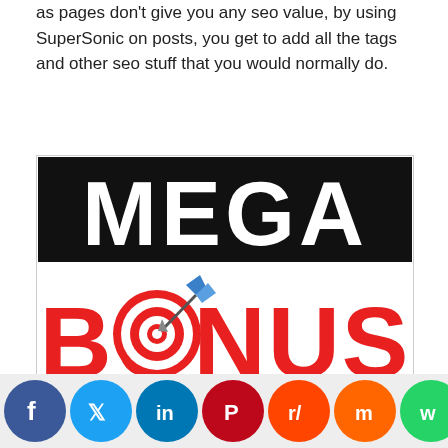as pages don't give you any seo value, by using SuperSonic on posts, you get to add all the tags and other seo stuff that you would normally do.
[Figure (illustration): Mega Bonus promotional image: black banner with white bold text 'MEGA' on top, and large red 3D text 'BONUS' below with a bullseye target and blue dart through the 'O'.]
SuperSonic Bonuses
[Figure (infographic): Social sharing bar with icons for Facebook, Twitter, LinkedIn, Pinterest, Reddit, Mix, WhatsApp, and Share (more).]